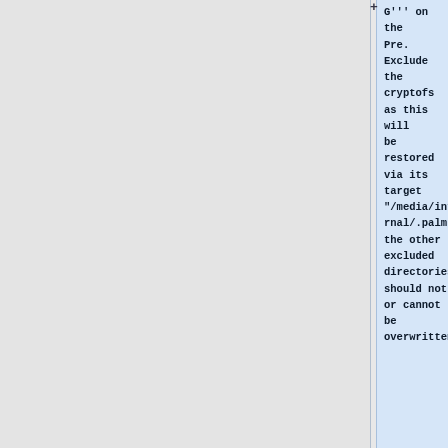G''' on the Pre. Exclude the cryptofs as this will be restored via its target "/media/internal/.palm", the other excluded directories should not or cannot be overwritten.
<source lang=bash>
export IPADDRESS='' 'enter the